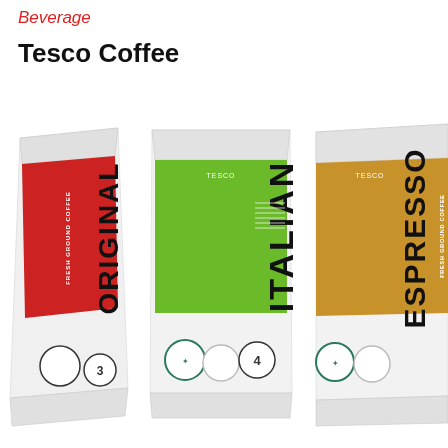Beverage
Tesco Coffee
[Figure (photo): Three Tesco fresh ground coffee bags displayed side by side: left bag has a red stripe with partially visible label, middle bag has a green stripe labeled ITALIAN FRESH GROUND COFFEE with strength 4, right bag has a gold/yellow stripe labeled ESPRESSO FRESH GROUND COFFEE. All bags are white with circular icons at the bottom.]